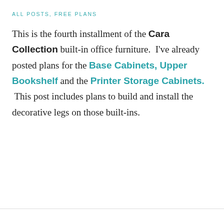ALL POSTS, FREE PLANS
This is the fourth installment of the Cara Collection built-in office furniture. I've already posted plans for the Base Cabinets, Upper Bookshelf and the Printer Storage Cabinets. This post includes plans to build and install the decorative legs on those built-ins.